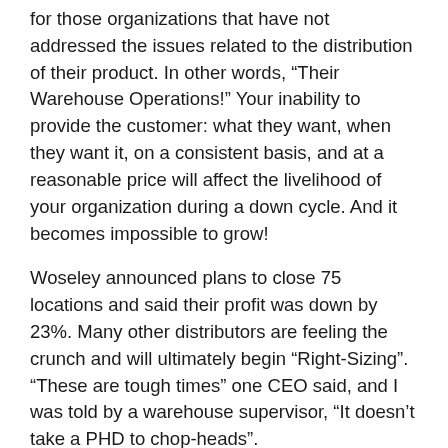for those organizations that have not addressed the issues related to the distribution of their product. In other words, “Their Warehouse Operations!” Your inability to provide the customer: what they want, when they want it, on a consistent basis, and at a reasonable price will affect the livelihood of your organization during a down cycle. And it becomes impossible to grow!
Woseley announced plans to close 75 locations and said their profit was down by 23%. Many other distributors are feeling the crunch and will ultimately begin “Right-Sizing”. “These are tough times” one CEO said, and I was told by a warehouse supervisor, “It doesn’t take a PHD to chop-heads”.